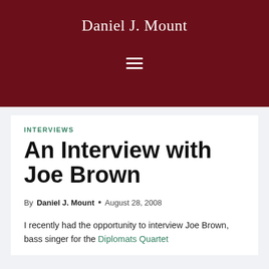Daniel J. Mount
INTERVIEWS
An Interview with Joe Brown
By Daniel J. Mount • August 28, 2008
I recently had the opportunity to interview Joe Brown, bass singer for the Diplomats Quartet